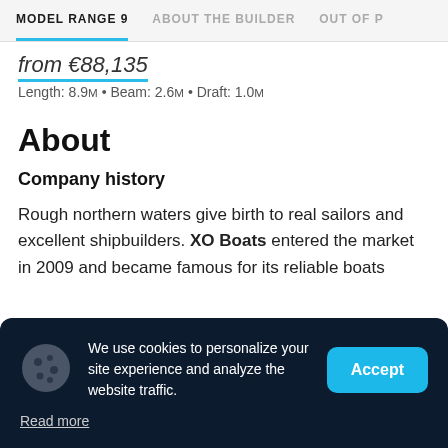MODEL RANGE 9 | ABOUT THE BUILDER | OUT OF P
from €88,135
Length: 8.9M • Beam: 2.6M • Draft: 1.0M
About
Company history
Rough northern waters give birth to real sailors and excellent shipbuilders. XO Boats entered the market in 2009 and became famous for its reliable boats
We use cookies to personalize your site experience and analyze the website traffic. Read more | Accept